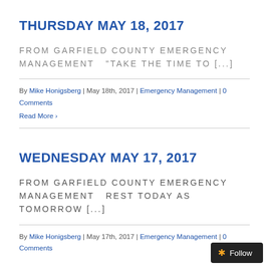THURSDAY MAY 18, 2017
FROM GARFIELD COUNTY EMERGENCY MANAGEMENT   "TAKE THE TIME TO [...]
By Mike Honigsberg | May 18th, 2017 | Emergency Management | 0 Comments
Read More >
WEDNESDAY MAY 17, 2017
FROM GARFIELD COUNTY EMERGENCY MANAGEMENT   Rest today as tomorrow [...]
By Mike Honigsberg | May 17th, 2017 | Emergency Management | 0 Comments